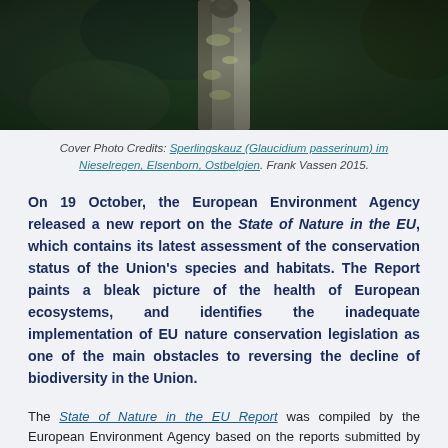[Figure (photo): Cover photo showing a bird (Pygmy Owl / Sperlingskauz) on a tree trunk in misty rain, with dark green forest background]
Cover Photo Credits: Sperlingskauz (Glaucidium passerinum) im Nieselregen, Elsenborn, Ostbelgien. Frank Vassen 2015.
On 19 October, the European Environment Agency released a new report on the State of Nature in the EU, which contains its latest assessment of the conservation status of the Union's species and habitats. The Report paints a bleak picture of the health of European ecosystems, and identifies the inadequate implementation of EU nature conservation legislation as one of the main obstacles to reversing the decline of biodiversity in the Union.
The State of Nature in the EU Report was compiled by the European Environment Agency based on the reports submitted by EU